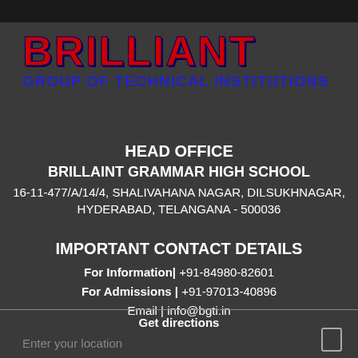BRILLIANT
GROUP OF TECHNICAL INSTITUTIONS
HEAD OFFICE
BRILLAINT GRAMMAR HIGH SCHOOL
16-11-477/A/14/4, SHALIVAHANA NAGAR, DILSUKHNAGAR, HYDERABAD, TELANGANA - 500036
IMPORTANT CONTACT DETAILS
For Information| +91-84980-82601
For Admissions | +91-97013-40896
Email | info@bgti.in
Get directions
Enter your location